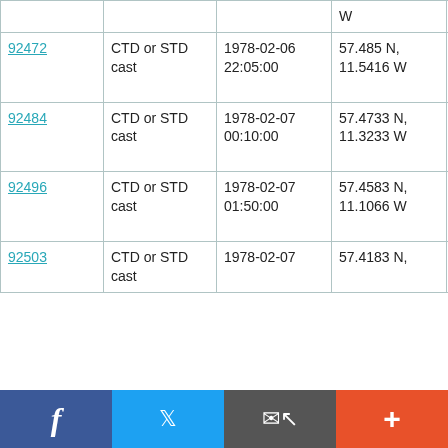| ID | Type | Date/Time | Location | Vessel |
| --- | --- | --- | --- | --- |
|  |  |  | W |  |
| 92472 | CTD or STD cast | 1978-02-06 22:05:00 | 57.485 N, 11.5416 W | RRS Challenger CH2/78 |
| 92484 | CTD or STD cast | 1978-02-07 00:10:00 | 57.4733 N, 11.3233 W | RRS Challenger CH2/78 |
| 92496 | CTD or STD cast | 1978-02-07 01:50:00 | 57.4583 N, 11.1066 W | RRS Challenger CH2/78 |
| 92503 | CTD or STD cast | 1978-02-07 | 57.4183 N, | RRS Challenger |
[Figure (screenshot): Social sharing bar with Facebook, Twitter, email, and plus buttons]